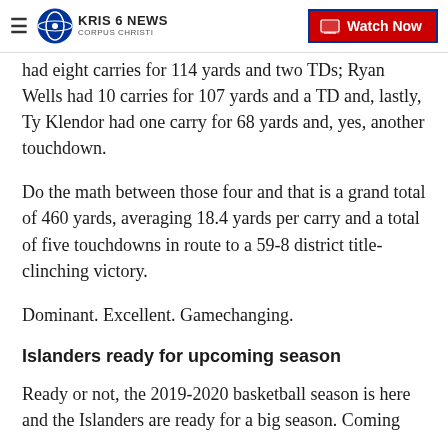KRIS 6 NEWS CORPUS CHRISTI | Watch Now
had eight carries for 114 yards and two TDs; Ryan Wells had 10 carries for 107 yards and a TD and, lastly, Ty Klendor had one carry for 68 yards and, yes, another touchdown.
Do the math between those four and that is a grand total of 460 yards, averaging 18.4 yards per carry and a total of five touchdowns in route to a 59-8 district title-clinching victory.
Dominant. Excellent. Gamechanging.
Islanders ready for upcoming season
Ready or not, the 2019-2020 basketball season is here and the Islanders are ready for a big season. Coming